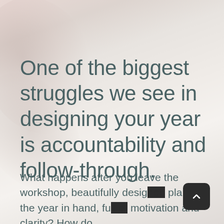One of the biggest struggles we see in designing your year is accountability and follow-through.
What happens after you leave the workshop, beautifully designed plan for the year in hand, full of motivation and clarity? How do